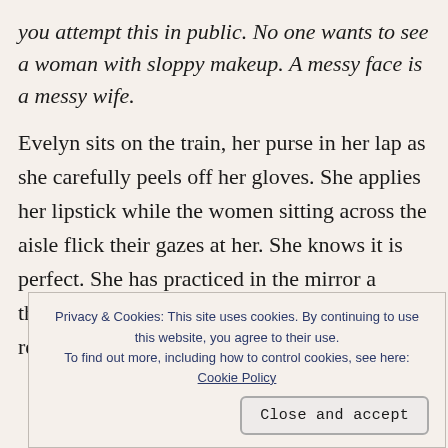you attempt this in public. No one wants to see a woman with sloppy makeup. A messy face is a messy wife.
Evelyn sits on the train, her purse in her lap as she carefully peels off her gloves. She applies her lipstick while the women sitting across the aisle flick their gazes at her. She knows it is perfect. She has practiced in the mirror a thousand times. When she is finished, she returns the lipstick to her purse and
Privacy & Cookies: This site uses cookies. By continuing to use this website, you agree to their use. To find out more, including how to control cookies, see here: Cookie Policy